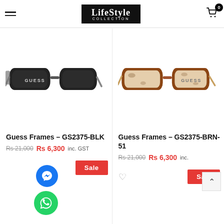LifeStyle Collection
[Figure (photo): Black Guess eyeglass frames - GS2375-BLK model, rectangular style with GUESS branding on lens]
Guess Frames – GS2375-BLK
Rs 21,000  Rs 6,300 inc. GST
[Figure (photo): Brown/tortoiseshell Guess eyeglass frames - GS2375-BRN-51 model, rectangular style with GUESS branding on lens]
Guess Frames – GS2375-BRN-51
Rs 21,000  Rs 6,300 inc.